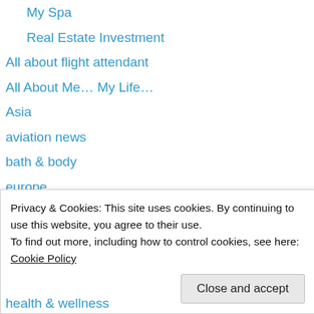My Spa
Real Estate Investment
All about flight attendant
All About Me… My Life…
Asia
aviation news
bath & body
europe
Germany
Italy
paris
Rome
Venice
Privacy & Cookies: This site uses cookies. By continuing to use this website, you agree to their use. To find out more, including how to control cookies, see here: Cookie Policy
health & wellness